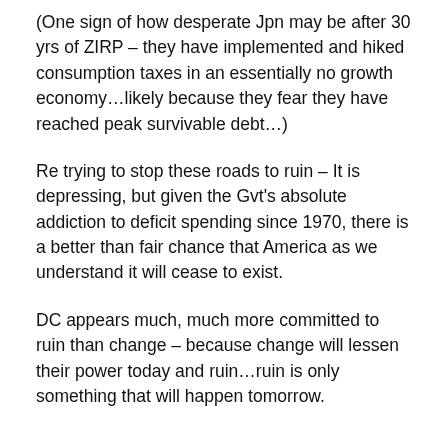(One sign of how desperate Jpn may be after 30 yrs of ZIRP – they have implemented and hiked consumption taxes in an essentially no growth economy…likely because they fear they have reached peak survivable debt…)
Re trying to stop these roads to ruin – It is depressing, but given the Gvt's absolute addiction to deficit spending since 1970, there is a better than fair chance that America as we understand it will cease to exist.
DC appears much, much more committed to ruin than change – because change will lessen their power today and ruin…ruin is only something that will happen tomorrow.